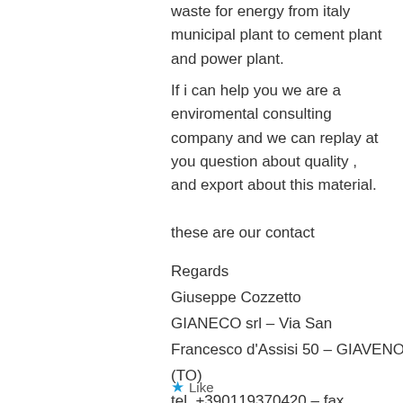waste for energy from italy municipal plant to cement plant and power plant.
If i can help you we are a enviromental consulting company and we can replay at you question about quality , and export about this material.
these are our contact
Regards
Giuseppe Cozzetto
GIANECO srl – Via San Francesco d'Assisi 50 – GIAVENO (TO)
tel. +390119370420 – fax +390119379658
cozzetto@gianeco.com
skype fabiocozzetto
★ Like